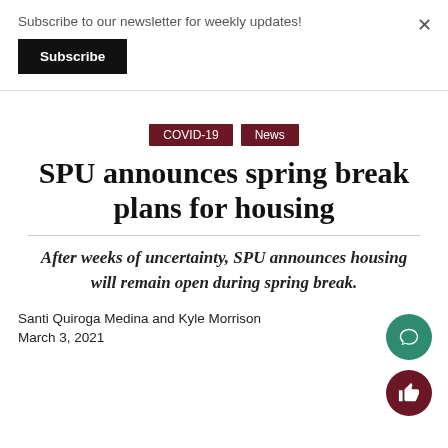Subscribe to our newsletter for weekly updates!
Subscribe
COVID-19   News
SPU announces spring break plans for housing
After weeks of uncertainty, SPU announces housing will remain open during spring break.
Santi Quiroga Medina and Kyle Morrison
March 3, 2021